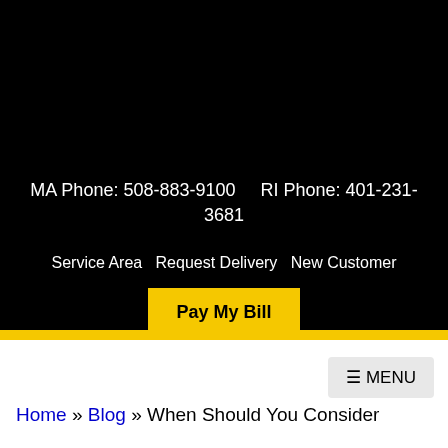MA Phone: 508-883-9100     RI Phone: 401-231-3681
Service Area   Request Delivery   New Customer
Pay My Bill
≡ MENU
Home » Blog » When Should You Consider